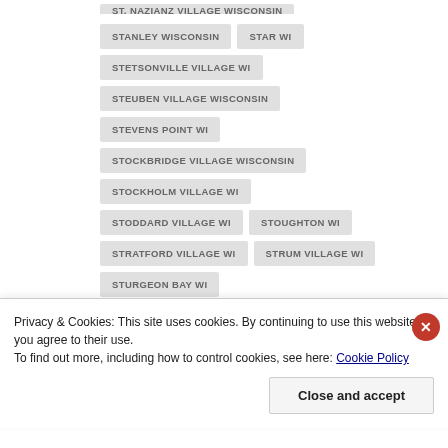ST. NAZIANZ VILLAGE WISCONSIN
STANLEY WISCONSIN
STAR WI
STETSONVILLE VILLAGE WI
STEUBEN VILLAGE WISCONSIN
STEVENS POINT WI
STOCKBRIDGE VILLAGE WISCONSIN
STOCKHOLM VILLAGE WI
STODDARD VILLAGE WI
STOUGHTON WI
STRATFORD VILLAGE WI
STRUM VILLAGE WI
STURGEON BAY WI
STURTEVANT VILLAGE WISCONSIN
Privacy & Cookies: This site uses cookies. By continuing to use this website, you agree to their use.
To find out more, including how to control cookies, see here: Cookie Policy
Close and accept